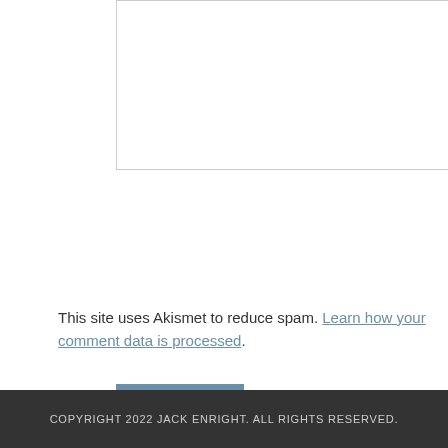[Figure (other): Comment textarea input box with resize handle]
Submit
This site uses Akismet to reduce spam. Learn how your comment data is processed.
PREVIOUS POST: DON'T FORGET ABOUT THE MANY OPPORTUNITIES AND MEMORIES
NEXT POST: HAPPY BIRTHDAY DR. RON PAUL!
COPYRIGHT 2022 JACK ENRIGHT. ALL RIGHTS RESERVED.